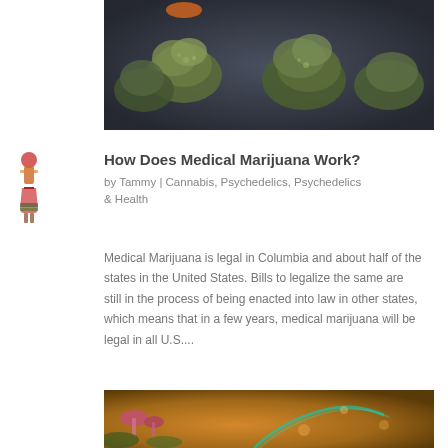[Figure (photo): Close-up photo of cannabis/marijuana buds on a dark background]
[Figure (illustration): Small decorative illustration of a chemistry/potion figure on the left side]
How Does Medical Marijuana Work?
by Tammy | Cannabis, Psychedelics, Psychedelics & Health
Medical Marijuana is legal in Columbia and about half of the states in the United States. Bills to legalize the same are still in the process of being enacted into law in other states, which means that in a few years, medical marijuana will be legal in all U.S....
[Figure (photo): Colorful macro photo of mushrooms and organic material with glowing teal/golden tones]